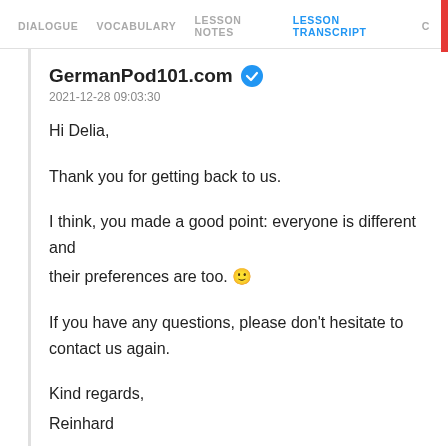DIALOGUE  VOCABULARY  LESSON NOTES  LESSON TRANSCRIPT  C
GermanPod101.com
2021-12-28 09:03:30
Hi Delia,

Thank you for getting back to us.

I think, you made a good point: everyone is different and their preferences are too. 🙂

If you have any questions, please don't hesitate to contact us again.

Kind regards,
Reinhard